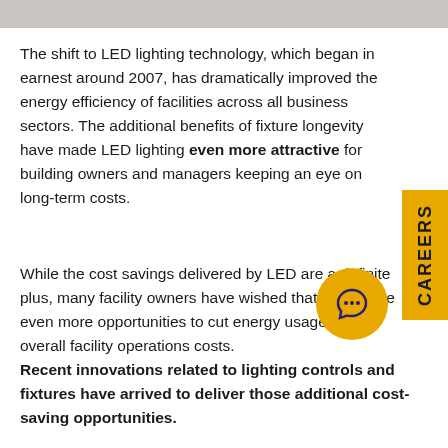[Figure (photo): Partial photo strip visible at the top of the page]
The shift to LED lighting technology, which began in earnest around 2007, has dramatically improved the energy efficiency of facilities across all business sectors. The additional benefits of fixture longevity have made LED lighting even more attractive for building owners and managers keeping an eye on long-term costs.
While the cost savings delivered by LED are a definite plus, many facility owners have wished that there were even more opportunities to cut energy usage and overall facility operations costs.
Recent innovations related to lighting controls and fixtures have arrived to deliver those additional cost-saving opportunities.